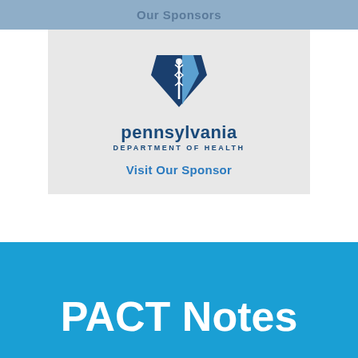Our Sponsors
[Figure (logo): Pennsylvania Department of Health logo with keystone shape and text 'pennsylvania DEPARTMENT OF HEALTH']
Visit Our Sponsor
PACT Notes